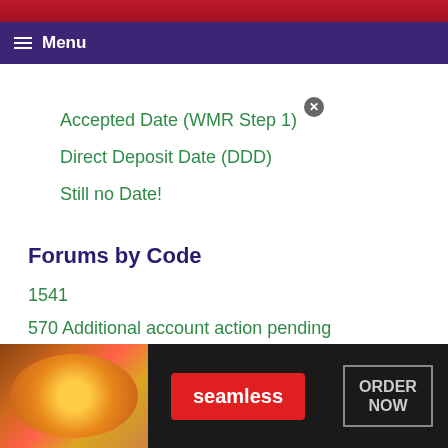Menu
Accepted Date (WMR Step 1)
Direct Deposit Date (DDD)
Still no Date!
Forums by Code
1541
570 Additional account action pending
[Figure (advertisement): Seamless food delivery advertisement banner with pizza image, red Seamless button, and ORDER NOW button]